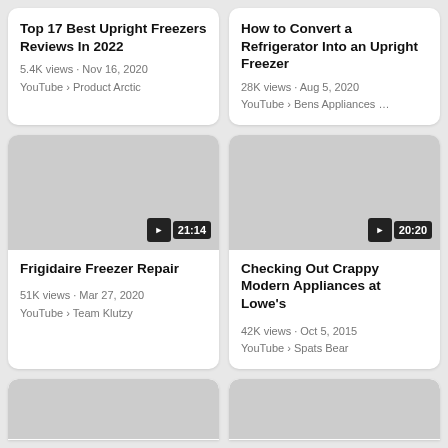[Figure (screenshot): Video card - Top 17 Best Upright Freezers Reviews In 2022, 5.4K views · Nov 16, 2020, YouTube › Product Arctic]
[Figure (screenshot): Video card - How to Convert a Refrigerator Into an Upright Freezer, 28K views · Aug 5, 2020, YouTube › Bens Appliances ...]
[Figure (screenshot): Video card with thumbnail - Frigidaire Freezer Repair, 21:14 duration, 51K views · Mar 27, 2020, YouTube › Team Klutzy]
[Figure (screenshot): Video card with thumbnail - Checking Out Crappy Modern Appliances at Lowe's, 20:20 duration, 42K views · Oct 5, 2015, YouTube › Spats Bear]
[Figure (screenshot): Partial video thumbnail card (bottom, left), content cut off]
[Figure (screenshot): Partial video thumbnail card (bottom, right), content cut off]